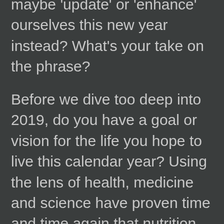maybe 'update' or 'enhance' ourselves this new year instead? What's your take on the phrase?
Before we dive too deep into 2019, do you have a goal or vision for the life you hope to live this calendar year? Using the lens of health, medicine and science have proven time and time again that nutrition and physical activity are crucial. You're working out at least two times per week for one hour with us at boot camp, plus possibly adding in other workouts and activity into your week. And there's your diet. Do you feel good about the food you're fueling your body with?